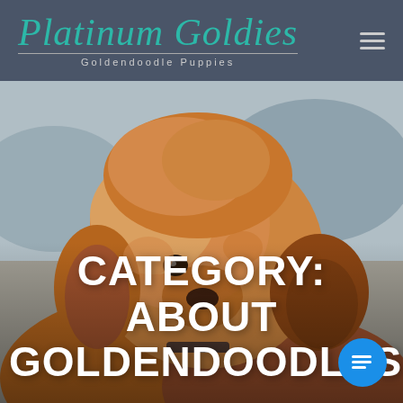Platinum Goldies — Goldendoodle Puppies
[Figure (photo): Close-up photo of a fluffy golden/apricot Goldendoodle puppy with curly fur, looking slightly to the right, with a blurred outdoor background.]
CATEGORY: ABOUT GOLDENDOODLES